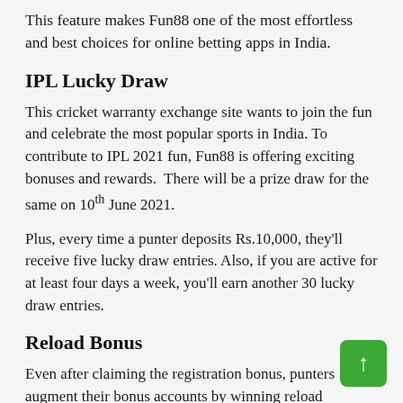This feature makes Fun88 one of the most effortless and best choices for online betting apps in India.
IPL Lucky Draw
This cricket warranty exchange site wants to join the fun and celebrate the most popular sports in India. To contribute to IPL 2021 fun, Fun88 is offering exciting bonuses and rewards.  There will be a prize draw for the same on 10th June 2021.
Plus, every time a punter deposits Rs.10,000, they'll receive five lucky draw entries. Also, if you are active for at least four days a week, you'll earn another 30 lucky draw entries.
Reload Bonus
Even after claiming the registration bonus, punters augment their bonus accounts by winning reload